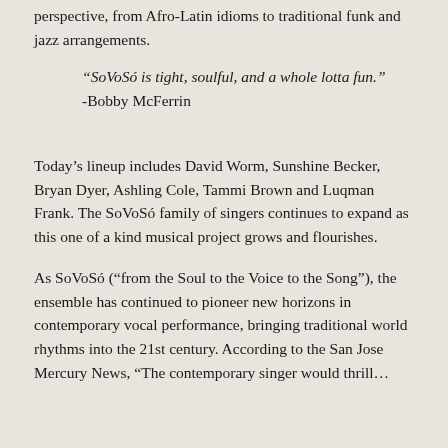perspective, from Afro-Latin idioms to traditional funk and jazz arrangements.
“SoVoSó is tight, soulful, and a whole lotta fun.” -Bobby McFerrin
Today’s lineup includes David Worm, Sunshine Becker, Bryan Dyer, Ashling Cole, Tammi Brown and Luqman Frank. The SoVoSó family of singers continues to expand as this one of a kind musical project grows and flourishes.
As SoVoSó (“from the Soul to the Voice to the Song”), the ensemble has continued to pioneer new horizons in contemporary vocal performance, bringing traditional world rhythms into the 21st century. According to the San Jose Mercury News, “The contemporary singer would thrill…”